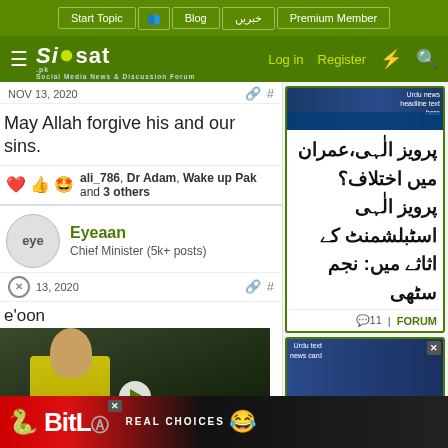Siasat.pk — Social Media News & Discussion Forum
NOV 13, 2020
May Allah forgive his and our sins.
ali_786, Dr Adam, Wake up Pak and 3 others
Eyeaan — Chief Minister (5k+ posts)
13, 2020
e'oon
[Figure (screenshot): Video thumbnail showing a person in a yellow high-visibility jacket in a warehouse, with LD SPORTS text visible]
پرویز الٰہی،عمران میں اختلاف؟ پرویز الٰہی اسٹبلشمنٹ کے اثاثے میں: نجم سٹھی
11 | FORUM
[Figure (screenshot): Second news card with Urdu text and an image]
[Figure (screenshot): BitLife advertisement banner — REAL CHOICES]